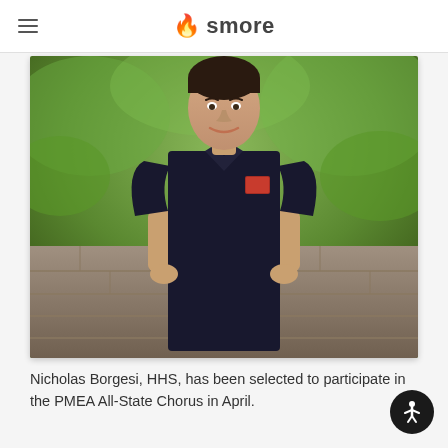smore
[Figure (photo): A young man wearing a dark navy polo shirt standing outdoors in front of green foliage and a stone wall, smiling at the camera.]
Nicholas Borgesi, HHS, has been selected to participate in the PMEA All-State Chorus in April.